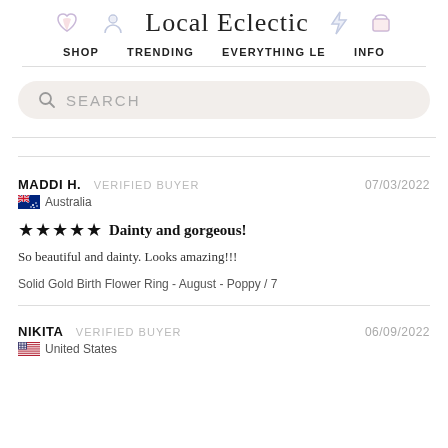Local Eclectic — SHOP  TRENDING  EVERYTHING LE  INFO
SEARCH
MADDI H.  VERIFIED BUYER  07/03/2022
🇦🇺 Australia
★★★★★ Dainty and gorgeous!
So beautiful and dainty. Looks amazing!!!
Solid Gold Birth Flower Ring - August - Poppy / 7
NIKITA  VERIFIED BUYER  06/09/2022
🇺🇸 United States